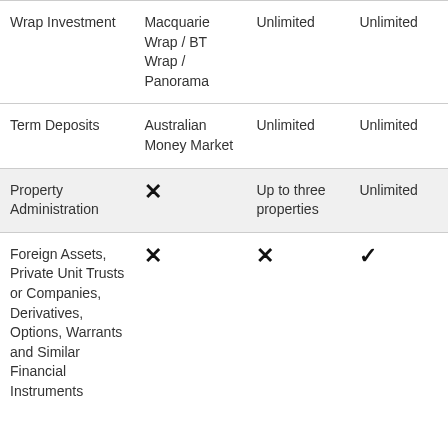| Wrap Investment | Macquarie Wrap / BT Wrap / Panorama | Unlimited | Unlimited |
| Term Deposits | Australian Money Market | Unlimited | Unlimited |
| Property Administration | ✗ | Up to three properties | Unlimited |
| Foreign Assets, Private Unit Trusts or Companies, Derivatives, Options, Warrants and Similar Financial Instruments | ✗ | ✗ | ✓ |